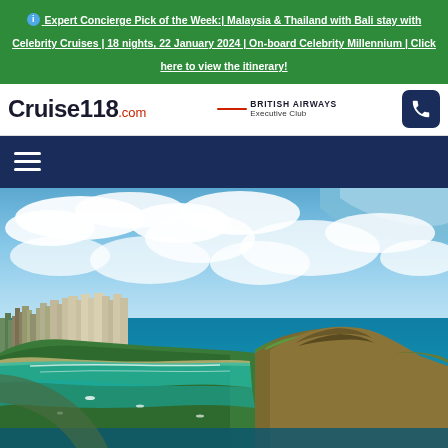Expert Concierge Pick of the Week:| Malaysia & Thailand with Bali stay with Celebrity Cruises | 18 nights, 22 January 2024 | On-board Celebrity Millennium | Click here to view the itinerary!
[Figure (logo): Cruise118.com logo and British Airways Executive Club logo and phone button in white header bar]
[Figure (photo): Aerial photograph of Honolulu, Hawaii, showing Diamond Head crater, Waikiki beach, city skyline, turquoise ocean, and clouds viewed from airplane window]